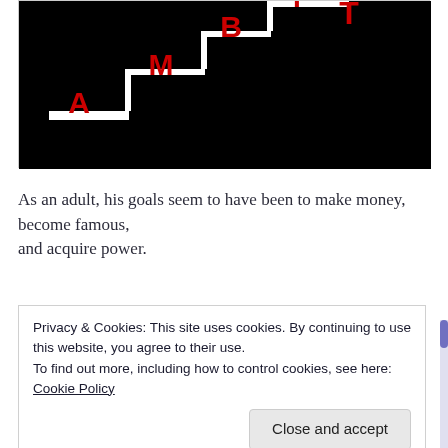[Figure (illustration): Black background with a staircase pattern going from lower-left to upper-right. Red capital letters A, M, B, I, T are placed on ascending stair steps, spelling AMBIT. The letters increase in elevation from left to right.]
As an adult, his goals seem to have been to make money, become famous, and acquire power.
Privacy & Cookies: This site uses cookies. By continuing to use this website, you agree to their use.
To find out more, including how to control cookies, see here: Cookie Policy
Close and accept